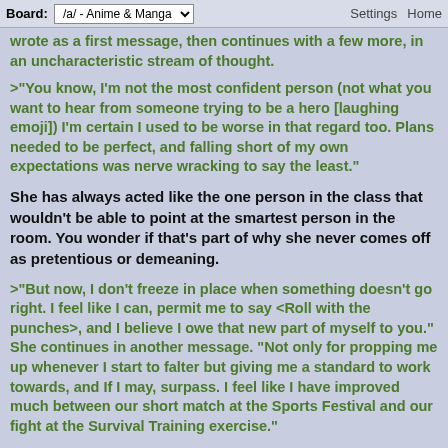Board: /a/ - Anime & Manga  Settings  Home
wrote as a first message, then continues with a few more, in an uncharacteristic stream of thought.
>“You know, I'm not the most confident person (not what you want to hear from someone trying to be a hero [laughing emoji]) I'm certain I used to be worse in that regard too. Plans needed to be perfect, and falling short of my own expectations was nerve wracking to say the least.”
She has always acted like the one person in the class that wouldn't be able to point at the smartest person in the room. You wonder if that's part of why she never comes off as pretentious or demeaning.
>“But now, I don't freeze in place when something doesn't go right. I feel like I can, permit me to say <Roll with the punches>, and I believe I owe that new part of myself to you.” She continues in another message. “Not only for propping me up whenever I start to falter but giving me a standard to work towards, and If I may, surpass. I feel like I have improved much between our short match at the Sports Festival and our fight at the Survival Training exercise.”
>“I hope that you have found it all as uplifting as I have, and that this partnership continues for us both.” She finishes...
>“[MESSAGE DELETED BY SENDER]”...Kinda. The last text...